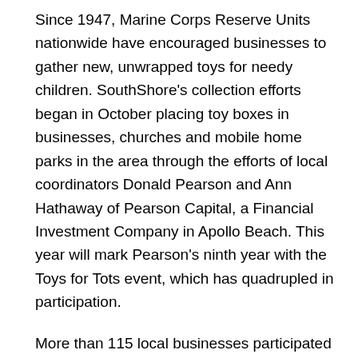Since 1947, Marine Corps Reserve Units nationwide have encouraged businesses to gather new, unwrapped toys for needy children. SouthShore's collection efforts began in October placing toy boxes in businesses, churches and mobile home parks in the area through the efforts of local coordinators Donald Pearson and Ann Hathaway of Pearson Capital, a Financial Investment Company in Apollo Beach. This year will mark Pearson's ninth year with the Toys for Tots event, which has quadrupled in participation.
More than 115 local businesses participated last year, making the holiday season a little brighter for more than 500 SouthShore families in need and Pearson is eager to break that record this year.
“When we started the first year, we had 32 boxes and this year it’s grown to 115,” explained Pearson last year. “My